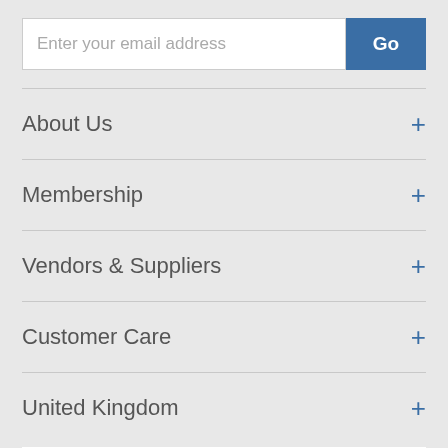[Figure (screenshot): Email input field with placeholder text 'Enter your email address' and a blue 'Go' button]
About Us +
Membership +
Vendors & Suppliers +
Customer Care +
United Kingdom +
2 Ways to Shop
Learn More
Online Only Annual Subscription
Costco Membership
[Figure (logo): Costco.co.uk logo]
[Figure (logo): Costco Wholesale logos - Trade and Individual membership options, plus Costco Wholesale logo on dark background]